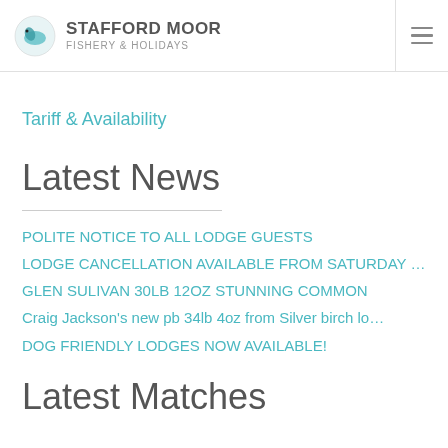STAFFORD MOOR FISHERY & HOLIDAYS
Tariff & Availability
Latest News
POLITE NOTICE TO ALL LODGE GUESTS
LODGE CANCELLATION AVAILABLE FROM SATURDAY …
GLEN SULIVAN 30LB 12OZ STUNNING COMMON
Craig Jackson's new pb 34lb 4oz from Silver birch lo…
DOG FRIENDLY LODGES NOW AVAILABLE!
Latest Matches